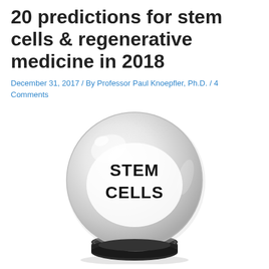20 predictions for stem cells & regenerative medicine in 2018
December 31, 2017 / By Professor Paul Knoepfler, Ph.D. / 4 Comments
[Figure (illustration): A crystal ball with 'STEM CELLS' text printed inside it, sitting on a black pedestal base. The ball is transparent/glass-like with reflective highlights.]